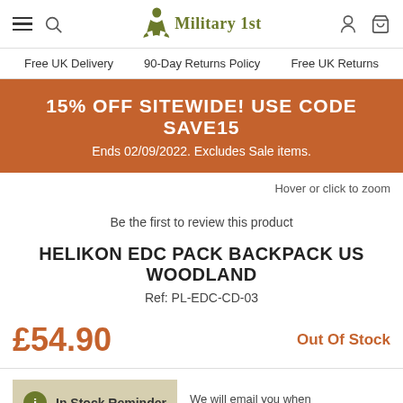Military 1st — Free UK Delivery | 90-Day Returns Policy | Free UK Returns
15% OFF SITEWIDE! USE CODE SAVE15
Ends 02/09/2022. Excludes Sale items.
Hover or click to zoom
Be the first to review this product
HELIKON EDC PACK BACKPACK US WOODLAND
Ref: PL-EDC-CD-03
£54.90   Out Of Stock
In Stock Reminder   We will email you when